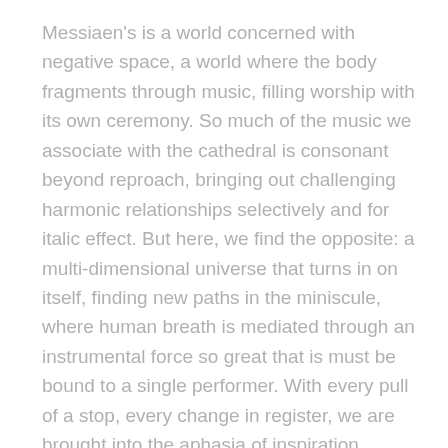Messiaen's is a world concerned with negative space, a world where the body fragments through music, filling worship with its own ceremony. So much of the music we associate with the cathedral is consonant beyond reproach, bringing out challenging harmonic relationships selectively and for italic effect. But here, we find the opposite: a multi-dimensional universe that turns in on itself, finding new paths in the miniscule, where human breath is mediated through an instrumental force so great that is must be bound to a single performer. With every pull of a stop, every change in register, we are brought into the aphasia of inspiration.
One cannot rightly imprison this work under one label. It is by turns magisterial and vulnerable. In showing us as much, Messiaen seems to remind us that apocalypse has nothing to do with fire and brimstone, but everything to